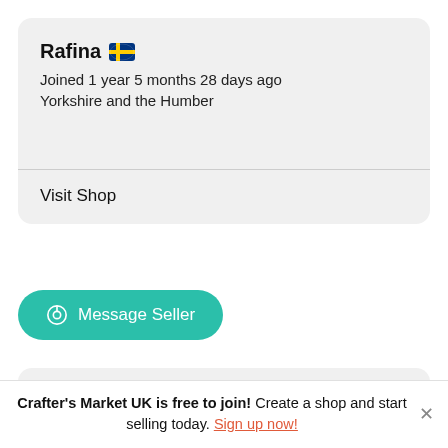Rafina
Joined 1 year 5 months 28 days ago
Yorkshire and the Humber
Visit Shop
Message Seller
[Figure (illustration): Green leaf decorative icon in lower card section]
Crafter's Market UK is free to join! Create a shop and start selling today. Sign up now!